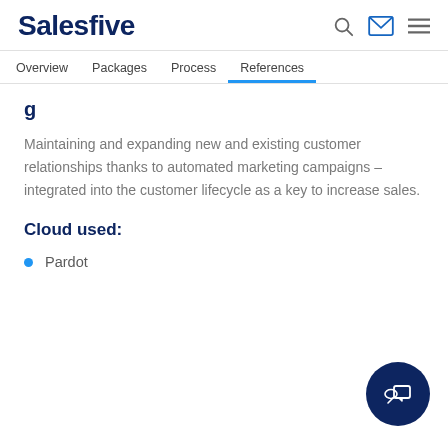Salesfive
Overview   Packages   Process   References
Maintaining and expanding new and existing customer relationships thanks to automated marketing campaigns – integrated into the customer lifecycle as a key to increase sales.
Cloud used:
Pardot